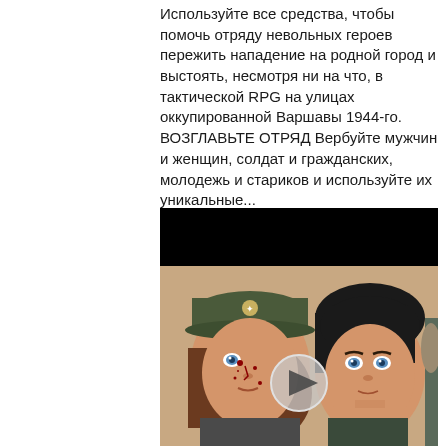Используйте все средства, чтобы помочь отряду невольных героев пережить нападение на родной город и выстоять, несмотря ни на что, в тактической RPG на улицах оккупированной Варшавы 1944-го. ВОЗГЛАВЬТЕ ОТРЯД Вербуйте мужчин и женщин, солдат и гражданских, молодежь и стариков и используйте их уникальные...
[Figure (illustration): Video thumbnail with black bar at top and illustration of two comic-style characters: a woman in military cap with blood on her face and blue eyes on the left, and a young man with dark hair and blue eyes on the right. A play button (circle with triangle) is overlaid in the center. A third character partially visible on the far right.]